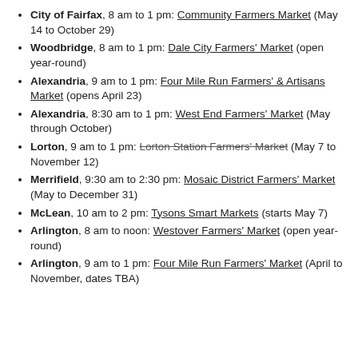City of Fairfax, 8 am to 1 pm: Community Farmers Market (May 14 to October 29)
Woodbridge, 8 am to 1 pm: Dale City Farmers' Market (open year-round)
Alexandria, 9 am to 1 pm: Four Mile Run Farmers' & Artisans Market (opens April 23)
Alexandria, 8:30 am to 1 pm: West End Farmers' Market (May through October)
Lorton, 9 am to 1 pm: Lorton Station Farmers' Market (May 7 to November 12)
Merrifield, 9:30 am to 2:30 pm: Mosaic District Farmers' Market (May to December 31)
McLean, 10 am to 2 pm: Tysons Smart Markets (starts May 7)
Arlington, 8 am to noon: Westover Farmers' Market (open year-round)
Arlington, 9 am to 1 pm: Four Mile Run Farmers' Market (April to November, dates TBA)